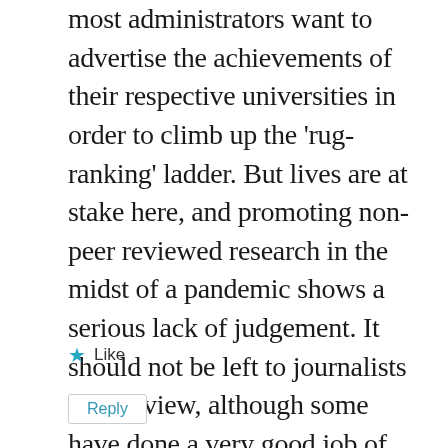most administrators want to advertise the achievements of their respective universities in order to climb up the 'rug-ranking' ladder. But lives are at stake here, and promoting non-peer reviewed research in the midst of a pandemic shows a serious lack of judgement. It should not be left to journalists peer review, although some have done a very good job of that. Since university administrators are chosen from the ranks of research, they know very well the difference between fantastic claims and not-so-fantastic data.
Like
Reply